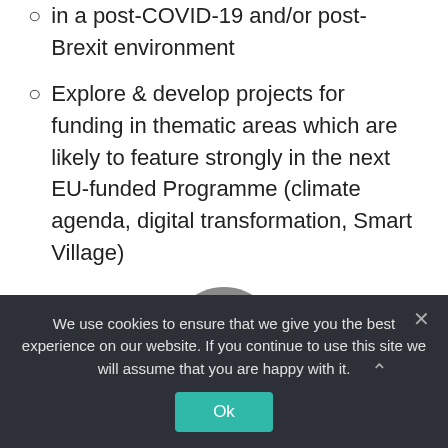in a post-COVID-19 and/or post-Brexit environment
Explore & develop projects for funding in thematic areas which are likely to feature strongly in the next EU-funded Programme (climate agenda, digital transformation, Smart Village)
[Figure (illustration): Gray circle icon with a numbered list symbol showing 1, 2, 3 with horizontal lines]
Priorities Of The Transitional
We use cookies to ensure that we give you the best experience on our website. If you continue to use this site we will assume that you are happy with it.